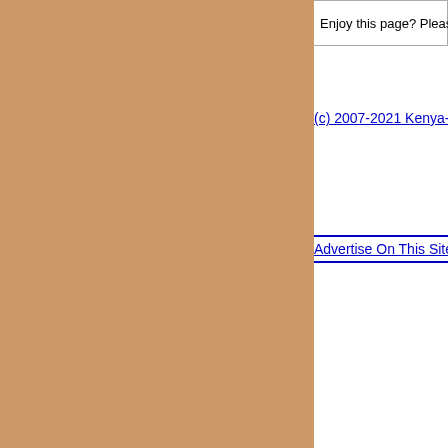Enjoy this page? Please pay it fo
(c) 2007-2021 Kenya-Advisor.com
Advertise On This Site –